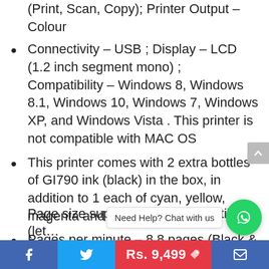(Print, Scan, Copy); Printer Output – Colour
Connectivity – USB ; Display – LCD (1.2 inch segment mono) ; Compatibility – Windows 8, Windows 8.1, Windows 10, Windows 7, Windows XP, and Windows Vista . This printer is not compatible with MAC OS
This printer comes with 2 extra bottles of GI790 ink (black) in the box, in addition to 1 each of cyan, yellow, magenta and black
Pages per minute – 8.8 pages (Black & White), 5 pages (Colour) ; Cost per page – 8 paise (Black & White), 21 paise (Colour) – As per ISO standards
Ideal usage – Home and Small office, Regular / Heavy usage (more th... m
Page size supported – 4.0"×6.0" till A4 (let...
Need Help? Chat with us
Rs. 9,499